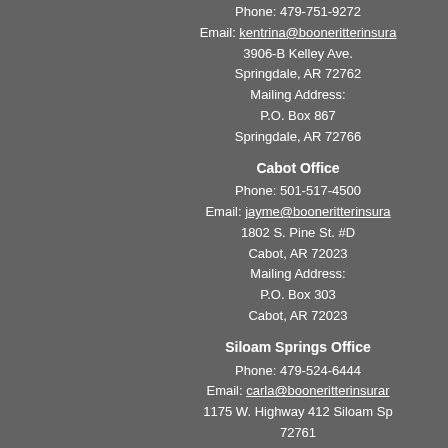Phone: 479-751-9272
Email: kentrina@booneritterinsura
3906-B Kelley Ave.
Springdale, AR 72762
Mailing Address:
P.O. Box 867
Springdale, AR 72766
Cabot Office
Phone: 501-517-4500
Email: jayme@booneritterinsura
1802 S. Pine St. #D
Cabot, AR 72023
Mailing Address:
P.O. Box 303
Cabot, AR 72023
Siloam Springs Office
Phone: 479-524-6444
Email: carla@booneritterinsurar
1175 W. Highway 412 Siloam Sp
72761
Mailing Address:
P.O. Box 7
Siloam Springs, AR 7276